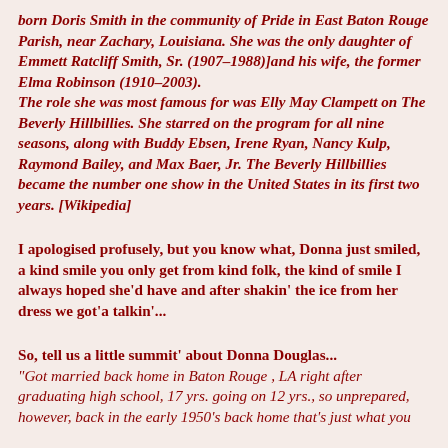born Doris Smith in the community of Pride in East Baton Rouge Parish, near Zachary, Louisiana. She was the only daughter of Emmett Ratcliff Smith, Sr. (1907–1988)]and his wife, the former Elma Robinson (1910–2003). The role she was most famous for was Elly May Clampett on The Beverly Hillbillies. She starred on the program for all nine seasons, along with Buddy Ebsen, Irene Ryan, Nancy Kulp, Raymond Bailey, and Max Baer, Jr. The Beverly Hillbillies became the number one show in the United States in its first two years. [Wikipedia]
I apologised profusely, but you know what, Donna just smiled, a kind smile you only get from kind folk, the kind of smile I always hoped she'd have and after shakin' the ice from her dress we got'a talkin'...
So, tell us a little summit' about Donna Douglas... "Got married back home in Baton Rouge , LA right after graduating high school, 17 yrs. going on 12 yrs., so unprepared, however, back in the early 1950's back home that's just what you